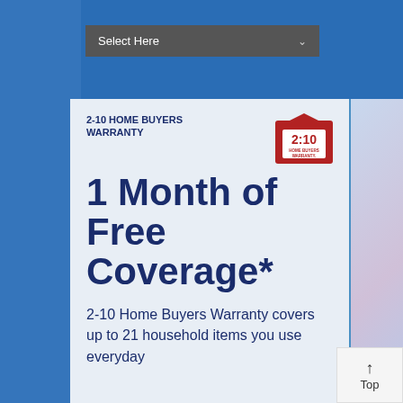[Figure (screenshot): Top navigation bar with 'Select Here' dropdown on blue background]
2-10 HOME BUYERS WARRANTY
[Figure (logo): 2-10 Home Buyers Warranty logo — red circle with '2:10' text and 'HOME BUYERS WARRANTY' below]
1 Month of Free Coverage*
2-10 Home Buyers Warranty covers up to 21 household items you use everyday